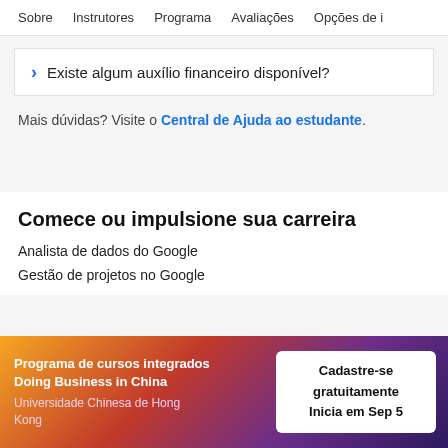Sobre   Instrutores   Programa   Avaliações   Opções de i
Existe algum auxílio financeiro disponível?
Mais dúvidas? Visite o Central de Ajuda ao estudante.
Comece ou impulsione sua carreira
Analista de dados do Google
Gestão de projetos no Google
Programa de cursos integrados Doing Business in China
Universidade Chinesa de Hong Kong
Cadastre-se gratuitamente
Inicia em Sep 5